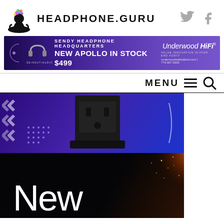[Figure (logo): Headphone.guru logo with meditating figure with colorful head and site name HEADPHONE.GURU, with Twitter bird and Facebook 'f' social icons on the right]
[Figure (infographic): Purple advertisement banner: SENDY HEADPHONE HEADQUARTERS / NEW APOLLO IN STOCK $499 / Underwood HiFi / underwoodwally@aol.com | 770.667.5633]
[Figure (screenshot): MENU navigation bar with hamburger menu icon and search magnifier icon on the right]
[Figure (photo): Purple/blue background with a black electrical outlet/power conditioner box in the center, white chevrons on left, decorative dots, and a white arc on the right]
[Figure (photo): Dark/black background with orange sparkle/glitter effect on right side, and large white 'New' text in bottom-left area]